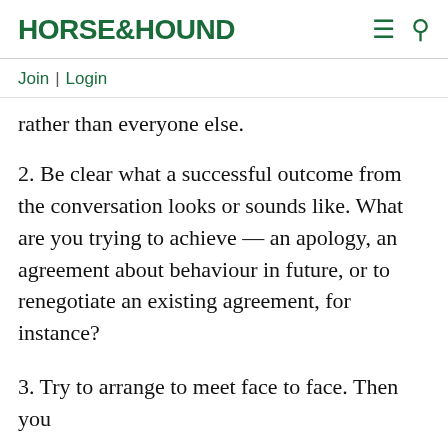HORSE&HOUND
Join | Login
rather than everyone else.
2. Be clear what a successful outcome from the conversation looks or sounds like. What are you trying to achieve — an apology, an agreement about behaviour in future, or to renegotiate an existing agreement, for instance?
3. Try to arrange to meet face to face. Then you